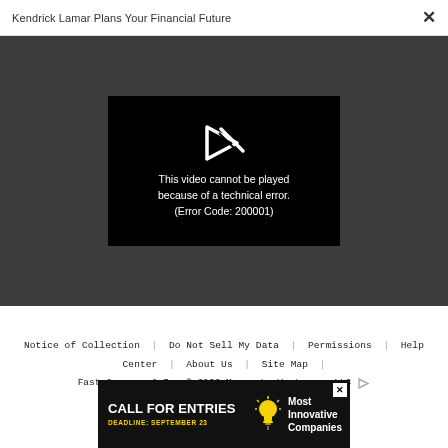Kendrick Lamar Plans Your Financial Future
[Figure (screenshot): Video player showing error: This video cannot be played because of a technical error. (Error Code: 200001)]
Notice of Collection | Do Not Sell My Data | Permissions | Help Center | About Us | Site Map | Fast Company & Inc © 2022 Mansueto Ventures, LLC
[Figure (infographic): Advertisement banner: CALL FOR ENTRIES DEADLINE: SEPTEMBER 23 Most Innovative Companies]